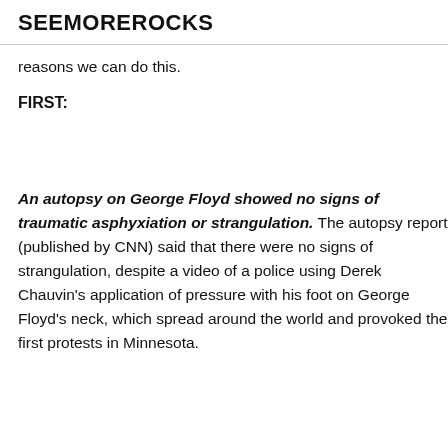SEEMOREROCKS
reasons we can do this.
FIRST:
An autopsy on George Floyd showed no signs of traumatic asphyxiation or strangulation. The autopsy report (published by CNN) said that there were no signs of strangulation, despite a video of a police using Derek Chauvin’s application of pressure with his foot on George Floyd’s neck, which spread around the world and provoked the first protests in Minnesota.